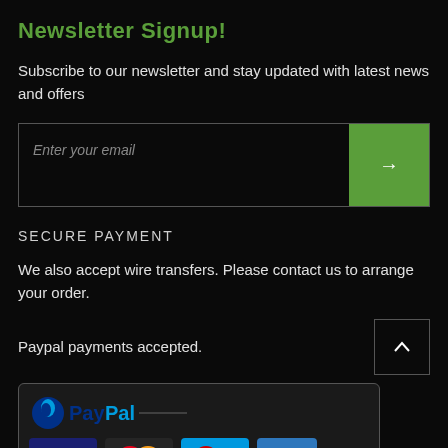Newsletter Signup!
Subscribe to our newsletter and stay updated with latest news and offers
[Figure (screenshot): Email input field with green arrow submit button]
SECURE PAYMENT
We also accept wire transfers. Please contact us to arrange your order.
Paypal payments accepted.
[Figure (logo): PayPal and credit card logos: Visa, MasterCard, Maestro, American Express]